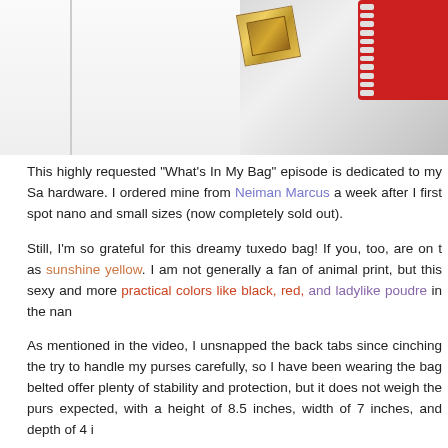[Figure (photo): Partial photo of a luxury bag with gold hardware and red zipper detail against a white/grey background. The top portion of the image is cropped.]
This highly requested "What's In My Bag" episode is dedicated to my Sa hardware. I ordered mine from Neiman Marcus a week after I first spot nano and small sizes (now completely sold out).
Still, I'm so grateful for this dreamy tuxedo bag! If you, too, are on t as sunshine yellow. I am not generally a fan of animal print, but this sexy and more practical colors like black, red, and ladylike poudre in the nan
As mentioned in the video, I unsnapped the back tabs since cinching the try to handle my purses carefully, so I have been wearing the bag belted offer plenty of stability and protection, but it does not weigh the purs expected, with a height of 8.5 inches, width of 7 inches, and depth of 4 i
The removable strap has a 20" drop, but I always wear it as a crossbo unexpectedly very heavy, and I did not want it to create indentations a small size now, which I think is the perfect hand-held size against my pe